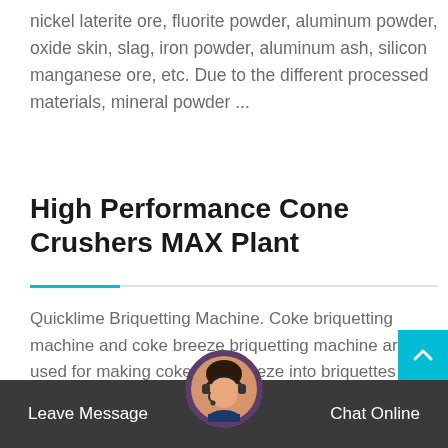nickel laterite ore, fluorite powder, aluminum powder, oxide skin, slag, iron powder, aluminum ash, silicon manganese ore, etc. Due to the different processed materials, mineral powder ...
High Performance Cone Crushers MAX Plant
Quicklime Briquetting Machine. Coke briquetting machine and coke breeze briquetting machine are used for making coke finesbreeze into briquettes and maximizing the value of fine coke and chat online crusher laterite equipment mineral powder briquetting machine,laterite-nickel ore to.
Ball Mills Industry Grinder For Mineral JXSC Machine